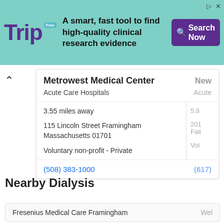[Figure (screenshot): Trip Database advertisement banner — green teal background with Trip logo in purple, tagline 'A smart, fast tool to find high-quality clinical research evidence', and a purple Search Now button]
Metrowest Medical Center
Acute Care Hospitals
3.55 miles away
115 Lincoln Street Framingham Massachusetts 01701
Voluntary non-profit - Private
(508) 383-1000
Nearby Dialysis
Fresenius Medical Care Framingham